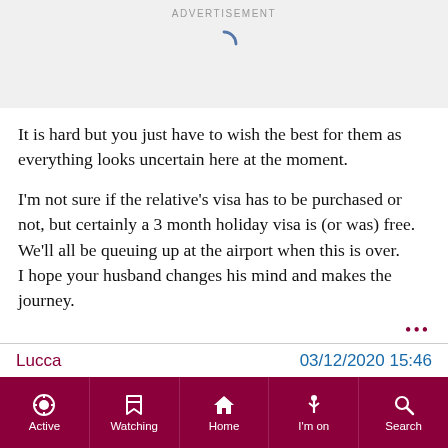[Figure (other): Advertisement banner with loading spinner on grey background]
It is hard but you just have to wish the best for them as everything looks uncertain here at the moment.
I'm not sure if the relative's visa has to be purchased or not, but certainly a 3 month holiday visa is (or was) free.
We'll all be queuing up at the airport when this is over.
I hope your husband changes his mind and makes the journey.
•••
Lucca	03/12/2020 15:46
Active  Watching  Home  I'm on  Search